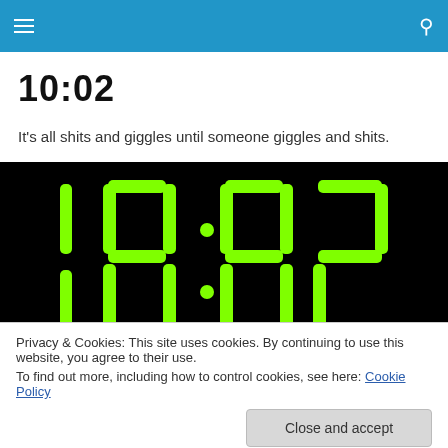10:02
It's all shits and giggles until someone giggles and shits.
[Figure (photo): Digital clock display showing green LED digits reading 10:02 on a black background]
Privacy & Cookies: This site uses cookies. By continuing to use this website, you agree to their use.
To find out more, including how to control cookies, see here: Cookie Policy
Close and accept
I use the compliment sandwich a lot when I am criticizing